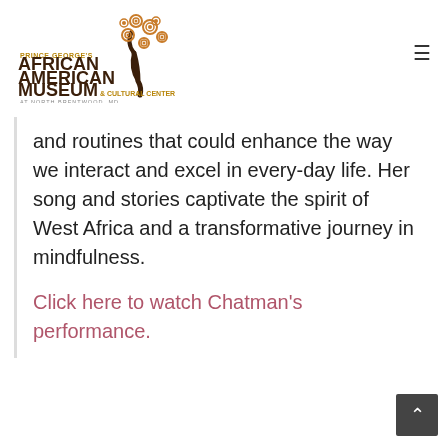[Figure (logo): Prince George's African American Museum & Cultural Center at North Brentwood logo with decorative tree illustration]
and routines that could enhance the way we interact and excel in every-day life. Her song and stories captivate the spirit of West Africa and a transformative journey in mindfulness.
Click here to watch Chatman's performance.